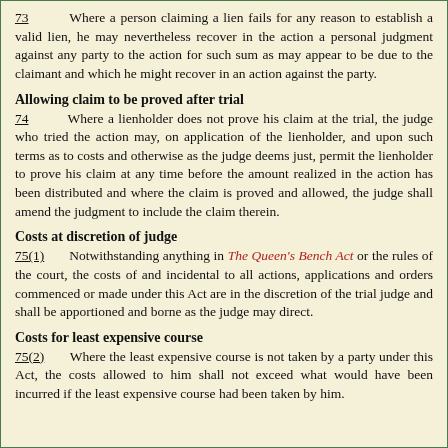73     Where a person claiming a lien fails for any reason to establish a valid lien, he may nevertheless recover in the action a personal judgment against any party to the action for such sum as may appear to be due to the claimant and which he might recover in an action against the party.
Allowing claim to be proved after trial
74     Where a lienholder does not prove his claim at the trial, the judge who tried the action may, on application of the lienholder, and upon such terms as to costs and otherwise as the judge deems just, permit the lienholder to prove his claim at any time before the amount realized in the action has been distributed and where the claim is proved and allowed, the judge shall amend the judgment to include the claim therein.
Costs at discretion of judge
75(1)     Notwithstanding anything in The Queen's Bench Act or the rules of the court, the costs of and incidental to all actions, applications and orders commenced or made under this Act are in the discretion of the trial judge and shall be apportioned and borne as the judge may direct.
Costs for least expensive course
75(2)     Where the least expensive course is not taken by a party under this Act, the costs allowed to him shall not exceed what would have been incurred if the least expensive course had been taken by him.